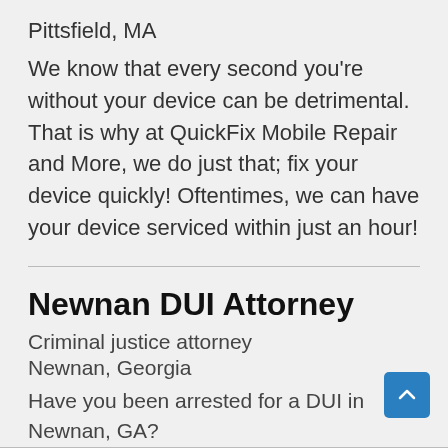Pittsfield, MA
We know that every second you're without your device can be detrimental. That is why at QuickFix Mobile Repair and More, we do just that; fix your device quickly! Oftentimes, we can have your device serviced within just an hour!
Newnan DUI Attorney
Criminal justice attorney
Newnan, Georgia
Have you been arrested for a DUI in Newnan, GA?